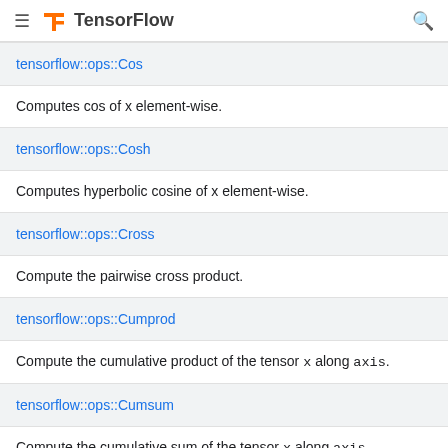TensorFlow
tensorflow::ops::Cos
Computes cos of x element-wise.
tensorflow::ops::Cosh
Computes hyperbolic cosine of x element-wise.
tensorflow::ops::Cross
Compute the pairwise cross product.
tensorflow::ops::Cumprod
Compute the cumulative product of the tensor x along axis.
tensorflow::ops::Cumsum
Compute the cumulative sum of the tensor x along axis.
tensorflow::ops::DenseBincount